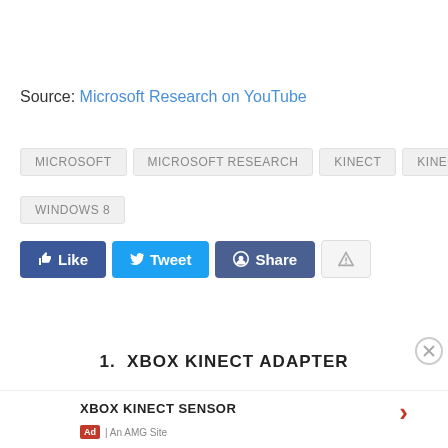Source: Microsoft Research on YouTube
MICROSOFT
MICROSOFT RESEARCH
KINECT
KINECT 2
WINDOWS 8
[Figure (infographic): Social sharing buttons: Like (Facebook, blue), Tweet (Twitter, light blue), Share (Reddit, dark blue), and a warning/flag button (gray)]
1.  XBOX KINECT ADAPTER
XBOX KINECT SENSOR
Ad | An AMG Site